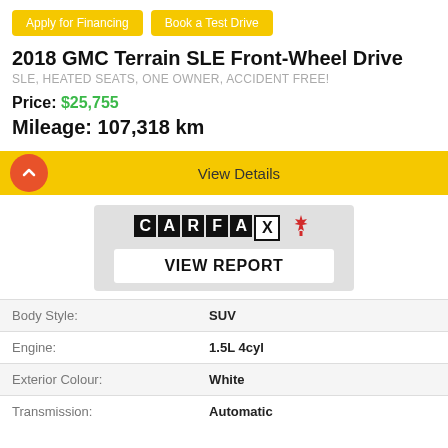Apply for Financing
Book a Test Drive
2018 GMC Terrain SLE Front-Wheel Drive
SLE, HEATED SEATS, ONE OWNER, ACCIDENT FREE!
Price: $25,755
Mileage: 107,318 km
View Details
[Figure (logo): CARFAX Canada logo with maple leaf]
VIEW REPORT
| Body Style: | SUV |
| Engine: | 1.5L 4cyl |
| Exterior Colour: | White |
| Transmission: | Automatic |